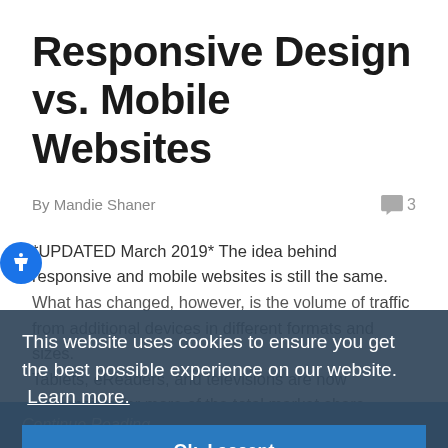Responsive Design vs. Mobile Websites
By Mandie Shaner
*UPDATED March 2019* The idea behind responsive and mobile websites is still the same. What has changed, however, is the volume of traffic from additional devices in different formats and sizes. Tablets, eReaders, and televisions are now responsible for more of the total market share...
This website uses cookies to ensure you get the best possible experience on our website.  Learn more.
Ok, I accept
Continue Reading